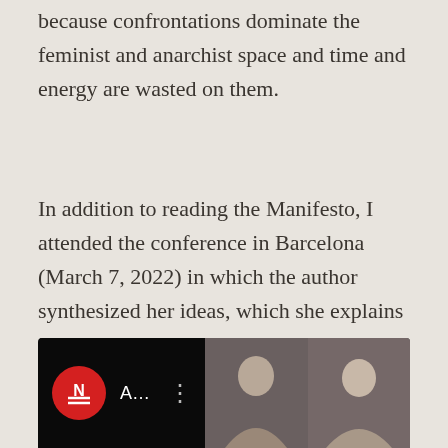because confrontations dominate the feminist and anarchist space and time and energy are wasted on them.
In addition to reading the Manifesto, I attended the conference in Barcelona (March 7, 2022) in which the author synthesized her ideas, which she explains in a book [2] that has just come out and which I am immersed in reading these days. .
[Figure (screenshot): YouTube video thumbnail showing 'Anarchafeminism in Times of ...' with a red circular logo with N and two lines, and thumbnail images of people on the right side.]